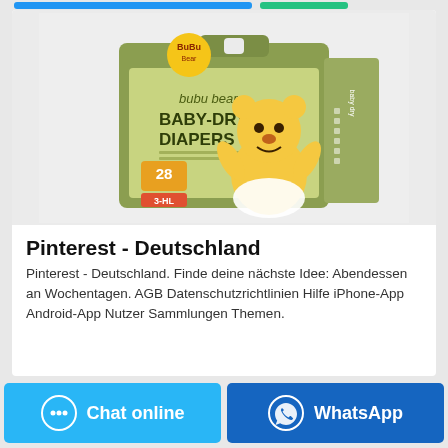[Figure (photo): Product photo of bubu bear BABY-DRY DIAPERS package in green/olive color, showing a cartoon bear mascot, count 28 diapers, size L]
Pinterest - Deutschland
Pinterest - Deutschland. Finde deine nächste Idee: Abendessen an Wochentagen. AGB Datenschutzrichtlinien Hilfe iPhone-App Android-App Nutzer Sammlungen Themen.
Chat online
WhatsApp